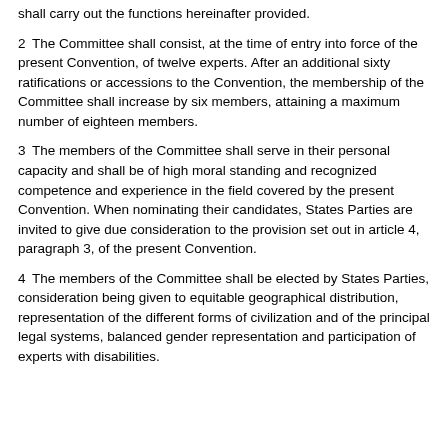shall carry out the functions hereinafter provided.
2. The Committee shall consist, at the time of entry into force of the present Convention, of twelve experts. After an additional sixty ratifications or accessions to the Convention, the membership of the Committee shall increase by six members, attaining a maximum number of eighteen members.
3. The members of the Committee shall serve in their personal capacity and shall be of high moral standing and recognized competence and experience in the field covered by the present Convention. When nominating their candidates, States Parties are invited to give due consideration to the provision set out in article 4, paragraph 3, of the present Convention.
4. The members of the Committee shall be elected by States Parties, consideration being given to equitable geographical distribution, representation of the different forms of civilization and of the principal legal systems, balanced gender representation and participation of experts with disabilities.